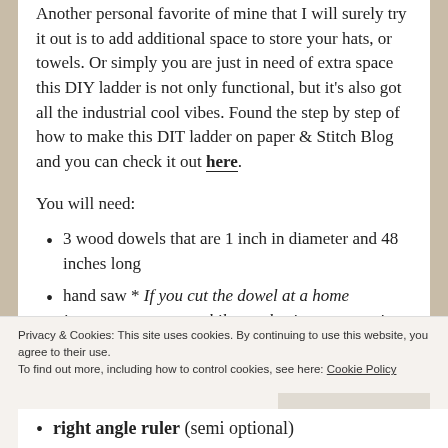Another personal favorite of mine that I will surely try it out is to add additional space to store your hats, or towels. Or simply you are just in need of extra space this DIY ladder is not only functional, but it's also got all the industrial cool vibes. Found the step by step of how to make this DIT ladder on paper & Stitch Blog and you can check it out here.
You will need:
3 wood dowels that are 1 inch in diameter and 48 inches long
hand saw * If you cut the dowel at a home improvement store, while purchasing, you won't
Privacy & Cookies: This site uses cookies. By continuing to use this website, you agree to their use. To find out more, including how to control cookies, see here: Cookie Policy
Close and accept
right angle ruler (semi optional)